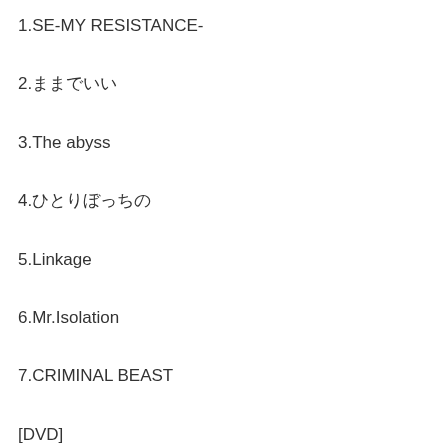1.SE-MY RESISTANCE-
2.ままでいい
3.The abyss
4.ひとりぼっちの
5.Linkage
6.Mr.Isolation
7.CRIMINAL BEAST
[DVD]